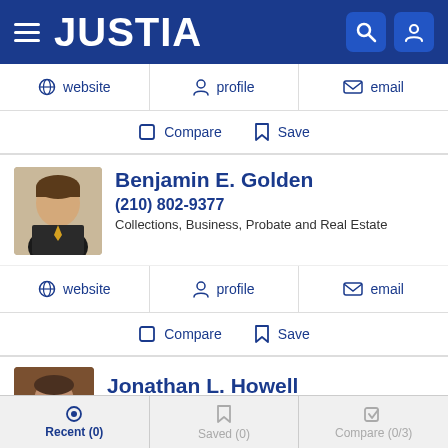JUSTIA
website | profile | email
Compare  Save
Benjamin E. Golden
(210) 802-9377
Collections, Business, Probate and Real Estate
website | profile | email
Compare  Save
Jonathan L. Howell
Recent (0)  Saved (0)  Compare (0/3)